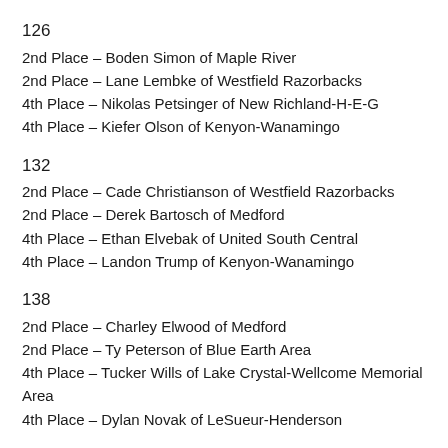126
2nd Place – Boden Simon of Maple River
2nd Place – Lane Lembke of Westfield Razorbacks
4th Place – Nikolas Petsinger of New Richland-H-E-G
4th Place – Kiefer Olson of Kenyon-Wanamingo
132
2nd Place – Cade Christianson of Westfield Razorbacks
2nd Place – Derek Bartosch of Medford
4th Place – Ethan Elvebak of United South Central
4th Place – Landon Trump of Kenyon-Wanamingo
138
2nd Place – Charley Elwood of Medford
2nd Place – Ty Peterson of Blue Earth Area
4th Place – Tucker Wills of Lake Crystal-Wellcome Memorial Area
4th Place – Dylan Novak of LeSueur-Henderson